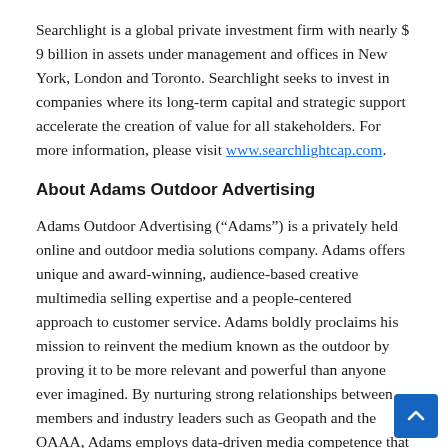Searchlight is a global private investment firm with nearly $ 9 billion in assets under management and offices in New York, London and Toronto. Searchlight seeks to invest in companies where its long-term capital and strategic support accelerate the creation of value for all stakeholders. For more information, please visit www.searchlightcap.com.
About Adams Outdoor Advertising
Adams Outdoor Advertising (“Adams”) is a privately held online and outdoor media solutions company. Adams offers unique and award-winning, audience-based creative multimedia selling expertise and a people-centered approach to customer service. Adams boldly proclaims his mission to reinvent the medium known as the outdoor by proving it to be more relevant and powerful than anyone ever imagined. By nurturing strong relationships between members and industry leaders such as Geopath and the OAAA, Adams employs data-driven media competence that sets the standard for outdoor signage.